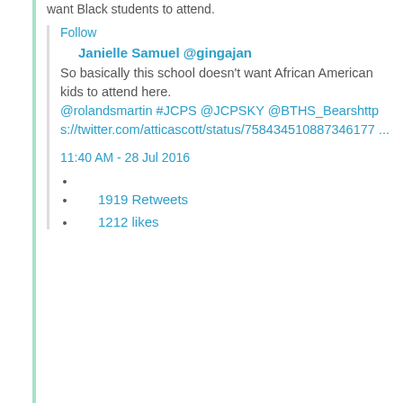want Black students to attend.
Follow
Janielle Samuel @gingajan
So basically this school doesn't want African American kids to attend here. @rolandsmartin #JCPS @JCPSKY @BTHS_Bearshttps://twitter.com/atticascott/status/758434510887346177 ...
11:40 AM - 28 Jul 2016
1919 Retweets
1212 likes